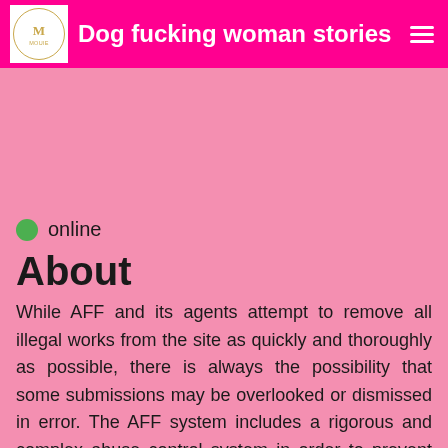Dog fucking woman stories
online
About
While AFF and its agents attempt to remove all illegal works from the site as quickly and thoroughly as possible, there is always the possibility that some submissions may be overlooked or dismissed in error. The AFF system includes a rigorous and complex abuse control system in order to prevent improper use of the AFF service, and we